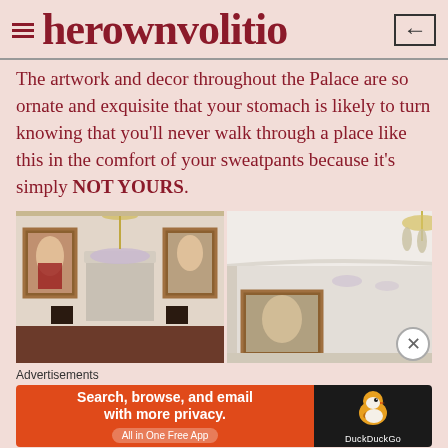herownvolitio
The artwork and decor throughout the Palace are so ornate and exquisite that your stomach is likely to turn knowing that you'll never walk through a place like this in the comfort of your sweatpants because it's simply NOT YOURS.
[Figure (photo): Two photos side by side showing ornate palace interior rooms with painted portraits, gilded furniture, chandeliers, canopy bed with floral upholstery, and decorative wall panels]
Advertisements
[Figure (screenshot): DuckDuckGo advertisement banner: 'Search, browse, and email with more privacy. All in One Free App' with DuckDuckGo duck logo on dark background]